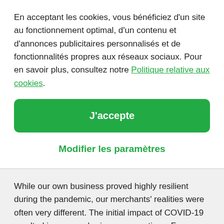En acceptant les cookies, vous bénéficiez d'un site au fonctionnement optimal, d'un contenu et d'annonces publicitaires personnalisés et de fonctionnalités propres aux réseaux sociaux. Pour en savoir plus, consultez notre Politique relative aux cookies.
J'accepte
Modifier les paramètres
While our own business proved highly resilient during the pandemic, our merchants' realities were often very different. The initial impact of COVID-19 resulted in many sobering conversations. For some sectors - e.g. in-store retail or airlines - the difference was night and day. We